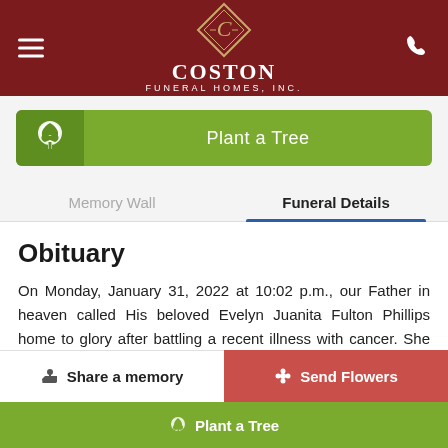[Figure (logo): Coston Funeral Homes, Inc. logo with diamond shape and stylized C on dark red header background]
[Figure (illustration): Plant a Tree button with tree icon on green background]
Memory Wall
Funeral Details
Obituary
On Monday, January 31, 2022 at 10:02 p.m., our Father in heaven called His beloved Evelyn Juanita Fulton Phillips home to glory after battling a recent illness with cancer. She was born in Pittsburgh Pennsylvania to John
Share a memory
Send Flowers
Plant a Tree